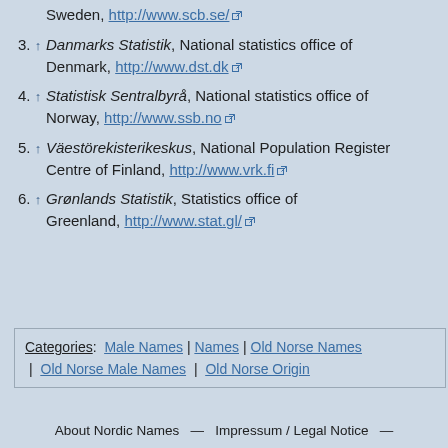Sweden, http://www.scb.se/
3. ↑ Danmarks Statistik, National statistics office of Denmark, http://www.dst.dk
4. ↑ Statistisk Sentralbyrå, National statistics office of Norway, http://www.ssb.no
5. ↑ Väestörekisterikeskus, National Population Register Centre of Finland, http://www.vrk.fi
6. ↑ Grønlands Statistik, Statistics office of Greenland, http://www.stat.gl/
Categories: Male Names | Names | Old Norse Names | Old Norse Male Names | Old Norse Origin
About Nordic Names  —  Impressum / Legal Notice  —